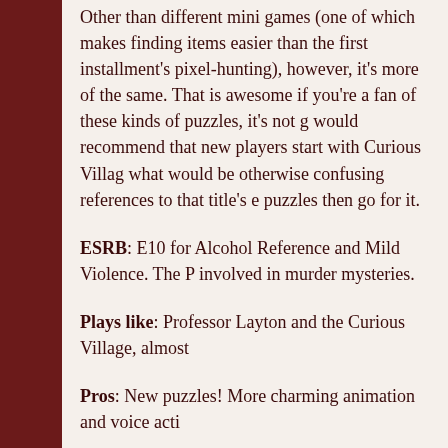Other than different mini games (one of which makes finding items easier than the first installment's pixel-hunting), however, it's more of the same. That is awesome if you're a fan of these kinds of puzzles, it's not groundbreaking. I would recommend that new players start with Curious Village to avoid what would be otherwise confusing references to that title's events. If you like puzzles then go for it.
ESRB: E10 for Alcohol Reference and Mild Violence. The Professor is involved in murder mysteries.
Plays like: Professor Layton and the Curious Village, almost identically.
Pros: New puzzles! More charming animation and voice acting.
Cons: Some of those puzzles are "Tower of Hanoi", "Knight's Tour" (peg solitaire), plus the ever-annoying sliding box puzzles return with new twists (blocks that aren't all squares and rectangles). Prepare to be frustrated.